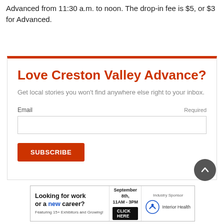Advanced from 11:30 a.m. to noon. The drop-in fee is $5, or $3 for Advanced.
Love Creston Valley Advance?
Get local stories you won't find anywhere else right to your inbox.
Email  Required
[Figure (screenshot): Email input field and Subscribe button for newsletter signup]
[Figure (infographic): Advertisement: Looking for work or a new career? September 8th, 11AM-3PM. Featuring 15+ Exhibitors and Growing! Click Here. Industry Sponsor: Interior Health.]